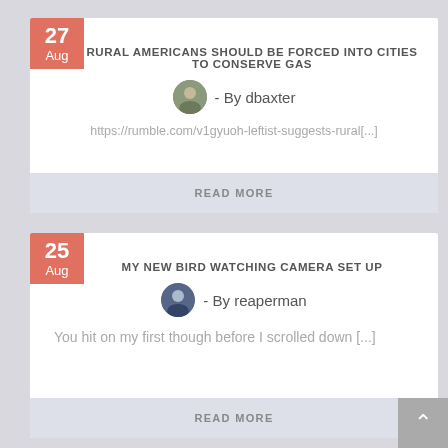RURAL AMERICANS SHOULD BE FORCED INTO CITIES TO CONSERVE GAS
- By dbaxter
https://rumble.com/v1gyuoh-leftist-suggests-rural[...]
READ MORE
MY NEW BIRD WATCHING CAMERA SET UP
- By reaperman
You hit on my first though before I scrolled down [...]
READ MORE